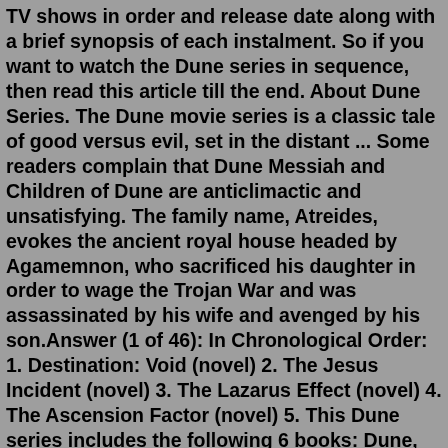TV shows in order and release date along with a brief synopsis of each instalment. So if you want to watch the Dune series in sequence, then read this article till the end. About Dune Series. The Dune movie series is a classic tale of good versus evil, set in the distant ... Some readers complain that Dune Messiah and Children of Dune are anticlimactic and unsatisfying. The family name, Atreides, evokes the ancient royal house headed by Agamemnon, who sacrificed his daughter in order to wage the Trojan War and was assassinated by his wife and avenged by his son.Answer (1 of 46): In Chronological Order: 1. Destination: Void (novel) 2. The Jesus Incident (novel) 3. The Lazarus Effect (novel) 4. The Ascension Factor (novel) 5. This Dune series includes the following 6 books: Dune, Dune Messiah, Children of Dune, God Emperor of Dune, Heretics of Dune, Chapterhouse: Dune. Book 1 Dune: Frank Herbert's classic masterpiece—a triumph of the imagination and one of the bestselling science fiction novels of all time.Jan 21, 2022...